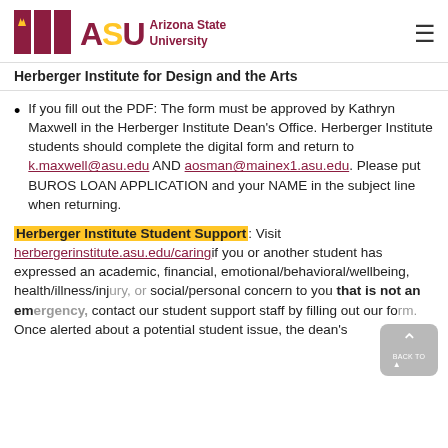Arizona State University – Herberger Institute for Design and the Arts
If you fill out the PDF: The form must be approved by Kathryn Maxwell in the Herberger Institute Dean's Office. Herberger Institute students should complete the digital form and return to k.maxwell@asu.edu AND aosman@mainex1.asu.edu. Please put BUROS LOAN APPLICATION and your NAME in the subject line when returning.
Herberger Institute Student Support: Visit herbergerinstitute.asu.edu/caring if you or another student has expressed an academic, financial, emotional/behavioral/wellbeing, health/illness/injury, or social/personal concern to you that is not an emergency, contact our student support staff by filling out our form. Once alerted about a potential student issue, the dean's